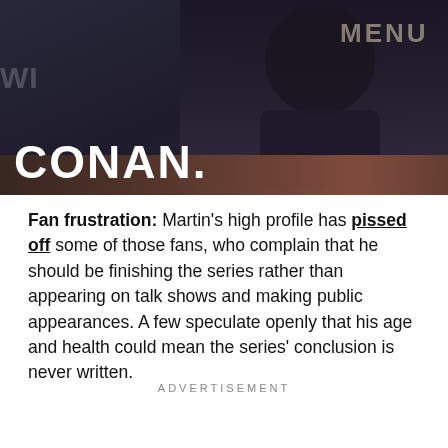[Figure (photo): Screenshot of a TV show website showing a person on stage with 'CONAN' text and 'MENU' navigation button visible]
Fan frustration: Martin's high profile has pissed off some of those fans, who complain that he should be finishing the series rather than appearing on talk shows and making public appearances. A few speculate openly that his age and health could mean the series' conclusion is never written.
ADVERTISEMENT